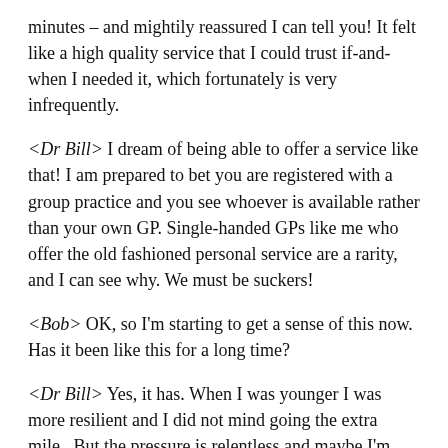minutes – and mightily reassured I can tell you! It felt like a high quality service that I could trust if-and-when I needed it, which fortunately is very infrequently.
<Dr Bill> I dream of being able to offer a service like that! I am prepared to bet you are registered with a group practice and you see whoever is available rather than your own GP. Single-handed GPs like me who offer the old fashioned personal service are a rarity, and I can see why. We must be suckers!
<Bob> OK, so I'm starting to get a sense of this now. Has it been like this for a long time?
<Dr Bill> Yes, it has. When I was younger I was more resilient and I did not mind going the extra mile.  But the pressure is relentless and maybe I'm just getting older and grumpier.  My real fear is I end up sounding like the